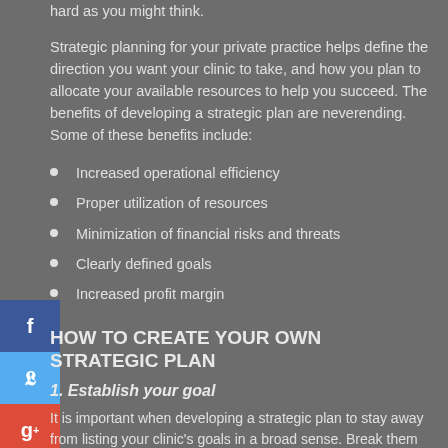hard as you might think.
Strategic planning for your private practice helps define the direction you want your clinic to take, and how you plan to allocate your available resources to help you succeed. The benefits of developing a strategic plan are neverending. Some of these benefits include:
Increased operational efficiency
Proper utilization of resources
Minimization of financial risks and threats
Clearly defined goals
Increased profit margin
HOW TO CREATE YOUR OWN STRATEGIC PLAN
1. Establish your goal
It is important when developing a strategic plan to stay away from listing your clinic's goals in a broad sense. Break them